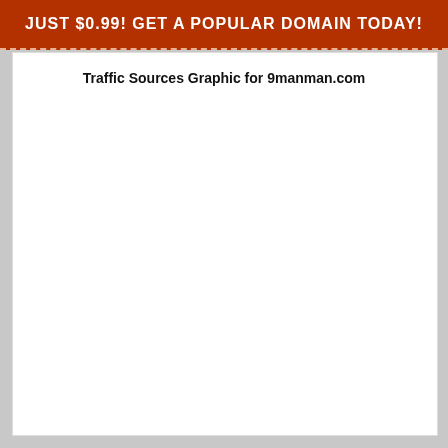JUST $0.99! GET A POPULAR DOMAIN TODAY!
Traffic Sources Graphic for 9manman.com